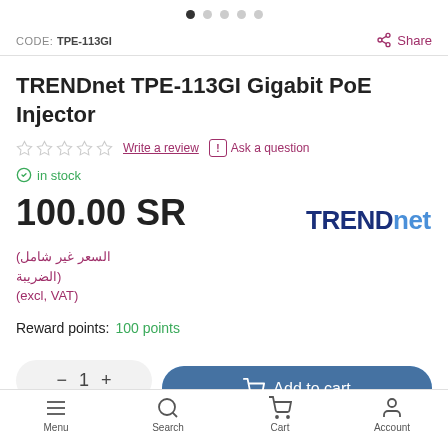[Figure (other): Pagination dots, 5 dots with first one filled/active]
CODE: TPE-113GI
Share
TRENDnet TPE-113GI Gigabit PoE Injector
Write a review   Ask a question
in stock
100.00 SR
[Figure (logo): TRENDnet brand logo in dark blue]
(السعر غير شامل الضريبة) (excl, VAT)
Reward points:   100 points
— 1 + 100.00 SR   Add to cart
Menu   Search   Cart   Account